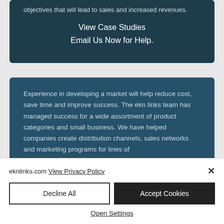objectives that will lead to sales and increased revenues.
View Case Studies
Email Us Now for Help.
Experience in developing a market will help reduce cost, save time and improve success. The ekn links team has managed success for a wide assortment of product categories and small business. We have helped companies create distribution channels, sales networks and marketing programs for lines of...
eknlinks.com View Privacy Policy
Decline All
Accept Cookies
Open Settings